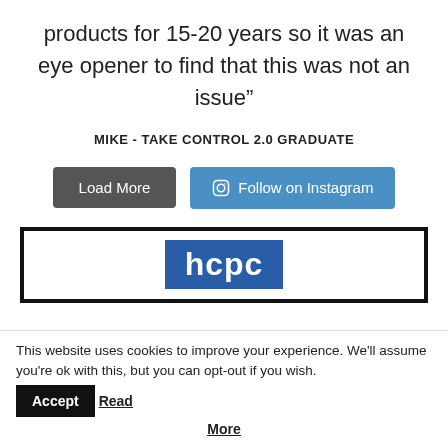products for 15-20 years so it was an eye opener to find that this was not an issue”
MIKE - TAKE CONTROL 2.0 GRADUATE
[Figure (screenshot): Two buttons: 'Load More' (dark grey) and 'Follow on Instagram' (blue with Instagram icon)]
[Figure (logo): HCPC logo - white text 'hcpc' on blue background inside a black-bordered box]
This website uses cookies to improve your experience. We'll assume you're ok with this, but you can opt-out if you wish. Accept Read More